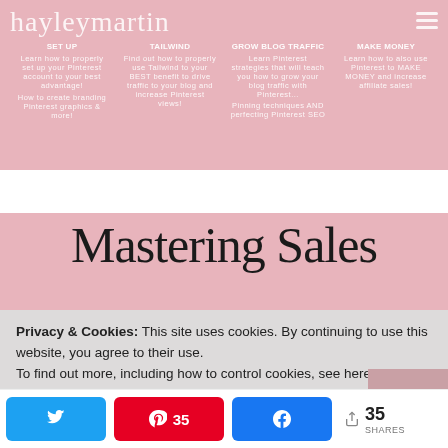[Figure (screenshot): Website header for hayleymartin blog with pink background, logo in script font, hamburger menu icon, and navigation items: SET UP, TAILWIND, GROW BLOG TRAFFIC, MAKE MONEY]
[Figure (screenshot): Four white cards showing course content descriptions for Pinterest marketing topics]
Mastering Sales
Privacy & Cookies: This site uses cookies. By continuing to use this website, you agree to their use.
To find out more, including how to control cookies, see here:
[Figure (screenshot): Social share bar with Twitter button, Pinterest button showing 35 saves, Facebook button, and total 35 SHARES counter]